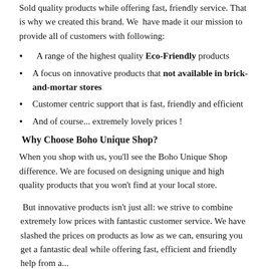Sold quality products while offering fast, friendly service. That is why we created this brand. We have made it our mission to provide all of customers with following:
A range of the highest quality Eco-Friendly products
A focus on innovative products that not available in brick-and-mortar stores
Customer centric support that is fast, friendly and efficient
And of course... extremely lovely prices !
Why Choose Boho Unique Shop?
When you shop with us, you'll see the Boho Unique Shop difference. We are focused on designing unique and high quality products that you won't find at your local store.
But innovative products isn't just all: we strive to combine extremely low prices with fantastic customer service. We have slashed the prices on products as low as we can, ensuring you get a fantastic deal while offering fast, efficient and friendly help from a...